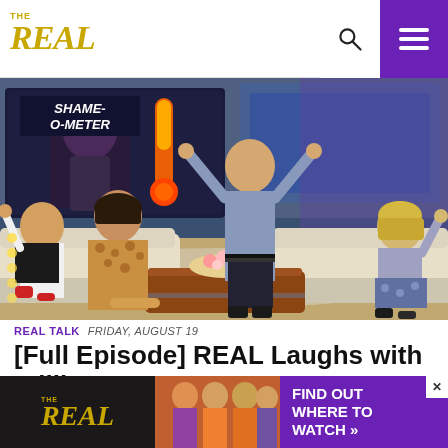THE REAL
[Figure (photo): TV show set photo: Four people on a talk show stage with arms raised, two women on left couch, one man standing center, one woman on right couch. Background shows 'SHAME-O-METER' display screen.]
REAL TALK  FRIDAY, AUGUST 19
[Full Episode] REAL Laughs with William H. Macy
Actor William H. Macy is in the house and he's keeping it REAL about his biggest pet peeves
[Figure (advertisement): The Real show advertisement banner with logo, hosts photo, and 'FIND OUT WHERE TO WATCH »' text on purple background]